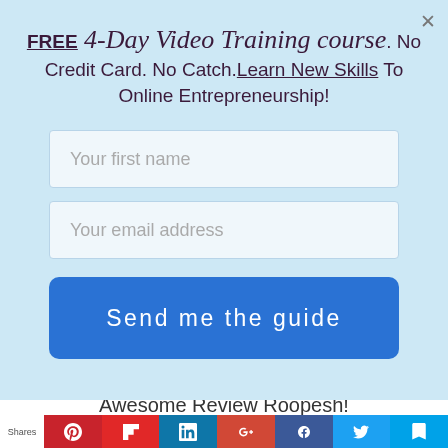FREE 4-Day Video Training course. No Credit Card. No Catch. Learn New Skills To Online Entrepreneurship!
[Figure (screenshot): Modal popup with input fields: 'Your first name' and 'Your email address', and a blue 'Send me the guide' button on a light blue background]
Awesome Review Roopesh!
[Figure (infographic): Social sharing bar with icons for Pinterest, Flipboard, LinkedIn, Google+, Facebook, Twitter, and bookmark. Labeled 'Shares' on the left.]